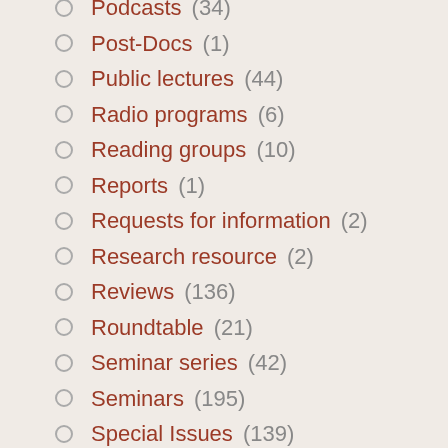Podcasts (34)
Post-Docs (1)
Public lectures (44)
Radio programs (6)
Reading groups (10)
Reports (1)
Requests for information (2)
Research resource (2)
Reviews (136)
Roundtable (21)
Seminar series (42)
Seminars (195)
Special Issues (139)